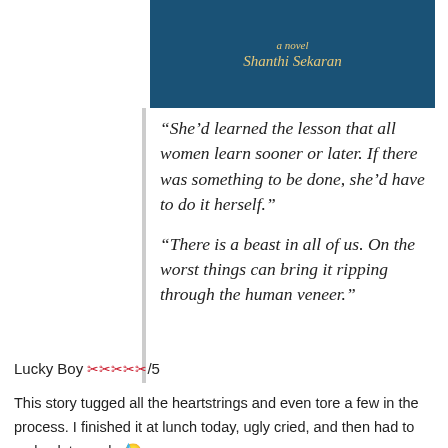[Figure (photo): Book cover showing 'a novel' and author name 'Shanthi Sekaran' in gold italic script on a dark teal/navy background]
“She’d learned the lesson that all women learn sooner or later. If there was something to be done, she’d have to do it herself.”
“There is a beast in all of us. On the worst things can bring it ripping through the human veneer.”
Lucky Boy ✂︎✂︎✂︎✂︎✂︎/5
This story tugged all the heartstrings and even tore a few in the process. I finished it at lunch today, ugly cried, and then had to go back to work. 😓